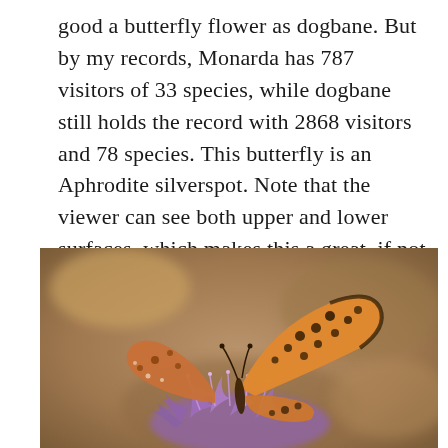good a butterfly flower as dogbane. But by my records, Monarda has 787 visitors of 33 species, while dogbane still holds the record with 2868 visitors and 78 species. This butterfly is an Aphrodite silverspot. Note that the viewer can see both upper and lower surfaces, which makes this a great, if not good, photo.
[Figure (photo): Close-up photograph of an Aphrodite silverspot butterfly perched on a purple flower (Monarda/bee balm), showing both upper and lower wing surfaces. The butterfly is orange with black spots and markings. Background is blurred in warm brown tones.]